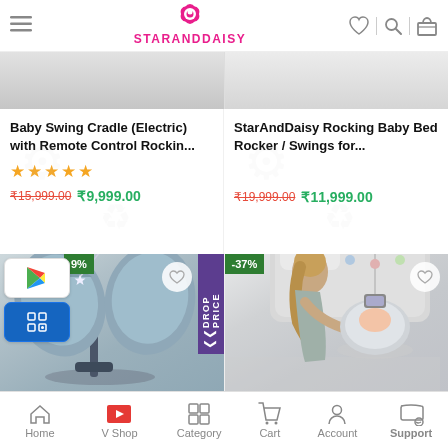StarAndDaisy — mobile app screenshot header with hamburger menu, logo, heart, search, and cart icons
[Figure (screenshot): Partial product image left: baby swing cradle, grey background]
[Figure (screenshot): Partial product image right: StarAndDaisy rocking baby bed, grey background]
Baby Swing Cradle (Electric) with Remote Control Rockin...
★★★★★
₹15,999.00  ₹9,999.00
StarAndDaisy Rocking Baby Bed Rocker / Swings for...
₹19,999.00  ₹11,999.00
[Figure (photo): Baby swing cradle product image with -9% badge and PRICE DROP ribbon, grey/blue color, modern design]
[Figure (photo): Baby swing product image with -37% badge, woman with baby in swing, grey tones]
Home | V Shop | Category | Cart | Account | Support